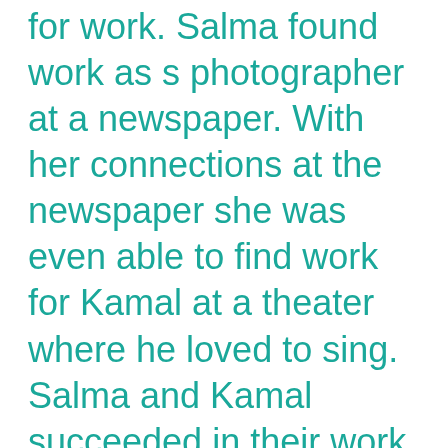for work. Salma found work as s photographer at a newspaper. With her connections at the newspaper she was even able to find work for Kamal at a theater where he loved to sing. Salma and Kamal succeeded in their work life while their brother's daughter Fifi remained irresponsible and immoral and she tried to drive a wedge between Salma and Kamal. She convinced Kamal that he got his job at the theater because of a relationship between Salma and the theater director. Kamal became angry and tried to kill the theater director but Salma found a press